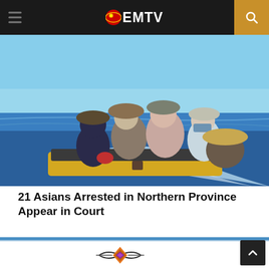EMTV
[Figure (photo): Five Asian people sitting on a speedboat on open ocean water, wearing hats and casual clothing. The boat is moving, creating a wake behind them. One person wears a blue face mask.]
21 Asians Arrested in Northern Province Appear in Court
[Figure (logo): EMTV logo at the bottom of the page — a stylized diamond/eye shape in orange and purple.]